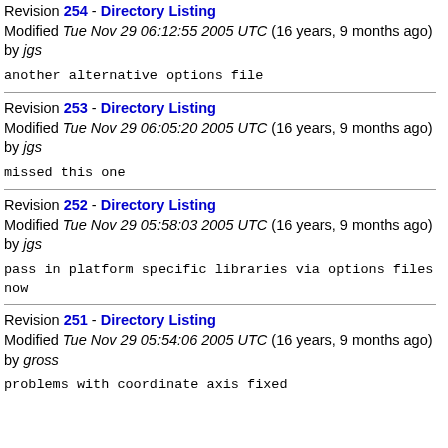Revision 254 - Directory Listing
Modified Tue Nov 29 06:12:55 2005 UTC (16 years, 9 months ago) by jgs
another alternative options file
Revision 253 - Directory Listing
Modified Tue Nov 29 06:05:20 2005 UTC (16 years, 9 months ago) by jgs
missed this one
Revision 252 - Directory Listing
Modified Tue Nov 29 05:58:03 2005 UTC (16 years, 9 months ago) by jgs
pass in platform specific libraries via options files
now
Revision 251 - Directory Listing
Modified Tue Nov 29 05:54:06 2005 UTC (16 years, 9 months ago) by gross
problems with coordinate axis fixed